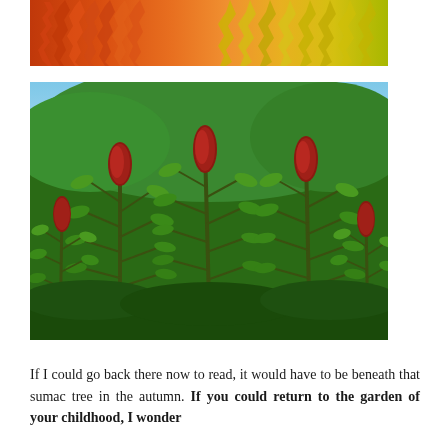[Figure (photo): Close-up of autumn sumac leaves in orange and yellow colors]
[Figure (photo): Sumac trees with red flower/fruit clusters and green leaves]
If I could go back there now to read, it would have to be beneath that sumac tree in the autumn. If you could return to the garden of your childhood, I wonder